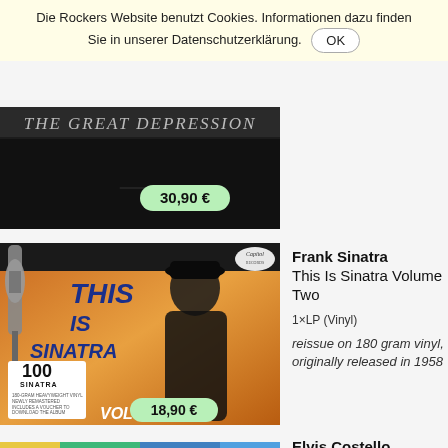Die Rockers Website benutzt Cookies. Informationen dazu finden Sie in unserer Datenschutzerklärung. OK
[Figure (photo): Partially visible album cover with dark background and text 'The Great Depression' with price badge showing 30,90 €]
[Figure (photo): Frank Sinatra 'This Is Sinatra Volume Two' album cover with orange background, Sinatra in black hat and suit, microphone, Capitol Records logo, and 100 Sinatra badge. Price badge showing 18,90 €]
Frank Sinatra
This Is Sinatra Volume Two
1×LP (Vinyl)
reissue on 180 gram vinyl, originally released in 1958
Elvis Costello